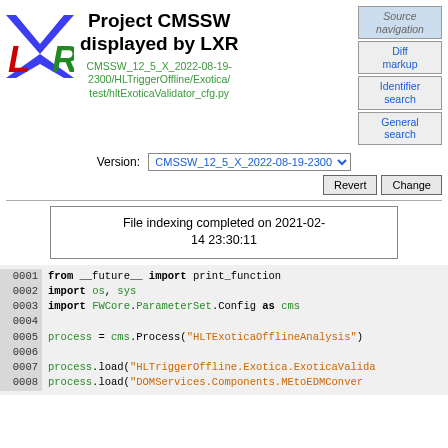[Figure (logo): LXR logo with colored letters L (red), X (blue/black), R (green)]
Project CMSSW displayed by LXR
CMSSW_12_5_X_2022-08-19-2300/HLTriggerOffline/Exotica/test/hltExoticaValidator_cfg.py
Source navigation
Diff markup
Identifier search
General search
Version: CMSSW_12_5_X_2022-08-19-2300
Revert  Change
File indexing completed on 2021-02-14 23:30:11
0001 from __future__ import print_function
0002 import os, sys
0003 import FWCore.ParameterSet.Config as cms
0004 
0005 process = cms.Process("HLTExoticaOfflineAnalysis")
0006 
0007 process.load("HLTriggerOffline.Exotica.ExoticaValida
0008 process.load("DOMServices.Components.MEtoEDMConver